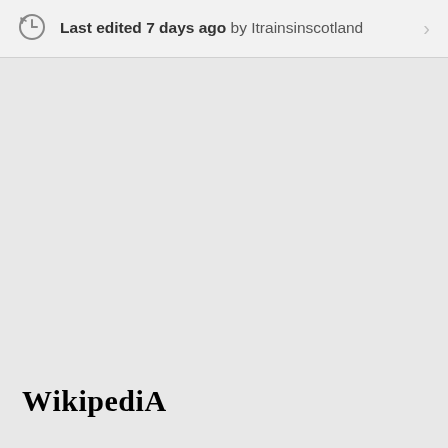Last edited 7 days ago by Itrainsinscotland
WIKIPEDIA